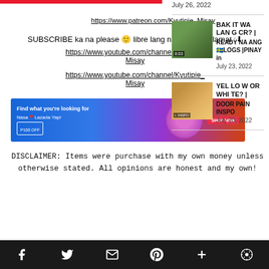https://www.patreon.com/Kyutipie_Misay
SUBSCRIBE ka na please 🙂 libre lang namn hihi Salamat :⬇
https://www.youtube.com/channel/Kyutipie_Misay
https://www.youtube.com/channel/Kyutipie_Misay
[Figure (other): Lazada advertisement banner - Find what you're looking for Nasa Lazada Yap!]
DISCLAIMER: Items were purchase with my own money unless otherwise stated. All opinions are honest and my own!
July 26, 2022
[Figure (photo): Thumbnail image of a person outdoors with wood logs]
BAKIT WALANG CR? | READY NA ANG 🇸🇪LOGS |PINAY in
July 23, 2022
[Figure (photo): Thumbnail image of yellow/white door inspiration]
YELLOW OR WHITE? | DOOR PAIN INSPO
July 20, 2022
f  Twitter  Email  Pinterest  +  WordPress